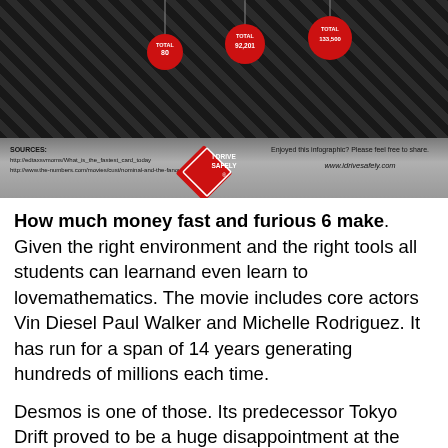[Figure (infographic): Infographic banner with dark diamond-pattern background, hanging red circular ornaments with text showing TOTAL values (80, 92,201, 133,500), a red diamond-shaped 'I DRIVE SAFELY' logo, a gray bottom bar with sources on the left and website URL on the right.]
How much money fast and furious 6 make. Given the right environment and the right tools all students can learnand even learn to lovemathematics. The movie includes core actors Vin Diesel Paul Walker and Michelle Rodriguez. It has run for a span of 14 years generating hundreds of millions each time.
Desmos is one of those. Its predecessor Tokyo Drift proved to be a huge disappointment at the box office and the franchise needed to get back on track with the original gang in town. The movie had a budget of 38 million.